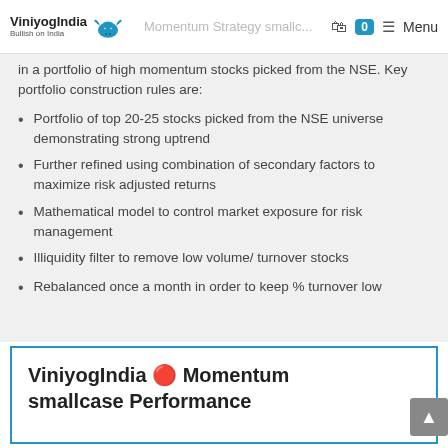ViniyogIndia – Momentum Strategy small... Menu
in a portfolio of high momentum stocks picked from the NSE. Key portfolio construction rules are:
Portfolio of top 20-25 stocks picked from the NSE universe demonstrating strong uptrend
Further refined using combination of secondary factors to maximize risk adjusted returns
Mathematical model to control market exposure for risk management
Illiquidity filter to remove low volume/ turnover stocks
Rebalanced once a month in order to keep % turnover low
ViniyogIndia 🔴 Momentum smallcase Performance